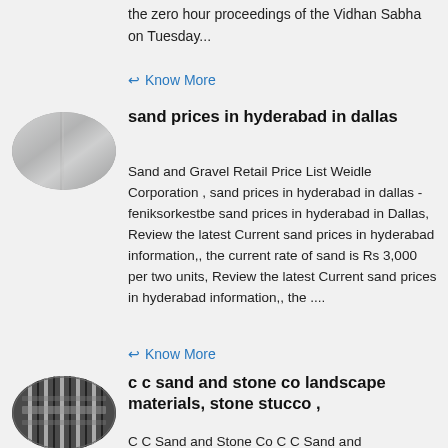the zero hour proceedings of the Vidhan Sabha on Tuesday...
Know More
[Figure (photo): Oval thumbnail image of a metallic reflective surface]
sand prices in hyderabad in dallas
Sand and Gravel Retail Price List Weidle Corporation , sand prices in hyderabad in dallas - feniksorkestbe sand prices in hyderabad in Dallas, Review the latest Current sand prices in hyderabad information,, the current rate of sand is Rs 3,000 per two units, Review the latest Current sand prices in hyderabad information,, the ....
Know More
[Figure (photo): Oval thumbnail image of metal grating/grille]
c c sand and stone co landscape materials, stone stucco ,
C C Sand and Stone Co C C Sand and